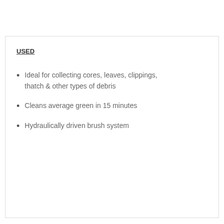USED
Ideal for collecting cores, leaves, clippings, thatch & other types of debris
Cleans average green in 15 minutes
Hydraulically driven brush system